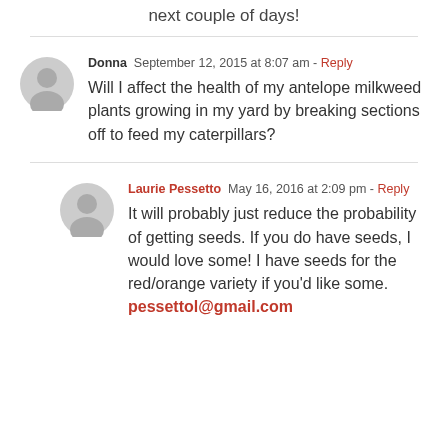next couple of days!
Donna  September 12, 2015 at 8:07 am - Reply
Will I affect the health of my antelope milkweed plants growing in my yard by breaking sections off to feed my caterpillars?
Laurie Pessetto  May 16, 2016 at 2:09 pm - Reply
It will probably just reduce the probability of getting seeds. If you do have seeds, I would love some! I have seeds for the red/orange variety if you'd like some.
pessettol@gmail.com